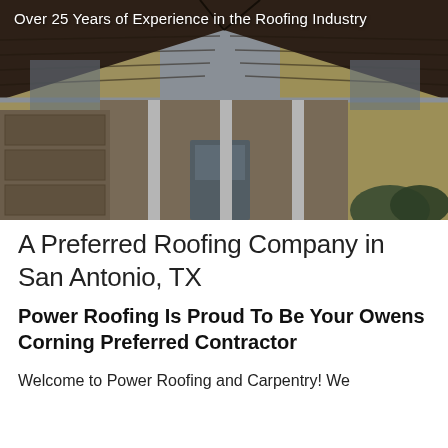[Figure (photo): Exterior photo of a two-story house with dark brown asphalt shingle roof, yellow/tan siding, white porch columns, and attached garage. Text overlay reads 'Over 25 Years of Experience in the Roofing Industry'.]
Over 25 Years of Experience in the Roofing Industry
A Preferred Roofing Company in San Antonio, TX
Power Roofing Is Proud To Be Your Owens Corning Preferred Contractor
Welcome to Power Roofing and Carpentry! We